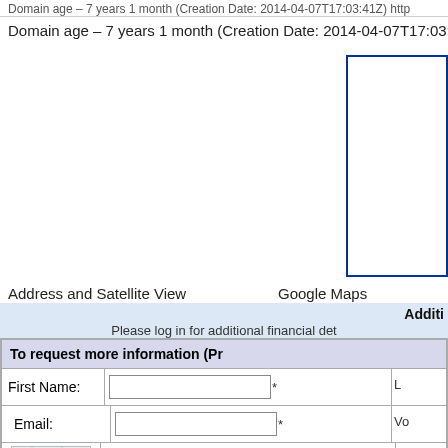Domain age – 7 years 1 month (Creation Date: 2014-04-07T17:03:41Z) http
Domain age – 7 years 1 month (Creation Date: 2014-04-07T17:03:41Z) http
[Figure (other): Blue-bordered rectangle (Google Maps or satellite view placeholder)]
Address and Satellite View
Google Maps
Additi
Please log in for additional financial det
| To request more information (Pr |
| --- |
| First Name: | [input] |  |
| Email: | [input] | Vo |
| [map] | [input] |  |